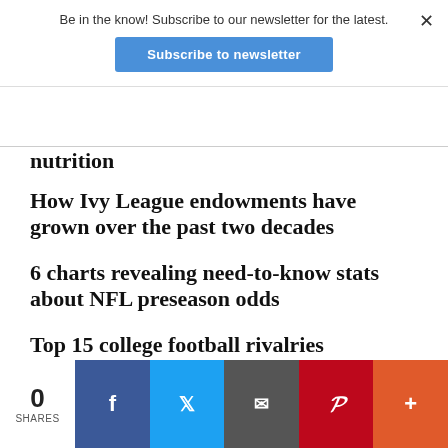Be in the know! Subscribe to our newsletter for the latest.
Subscribe to newsletter
nutrition
How Ivy League endowments have grown over the past two decades
6 charts revealing need-to-know stats about NFL preseason odds
Top 15 college football rivalries
0 SHARES
[Figure (other): Social share buttons: Facebook (f), Twitter (bird), Email (envelope), Pinterest (P), More (+)]